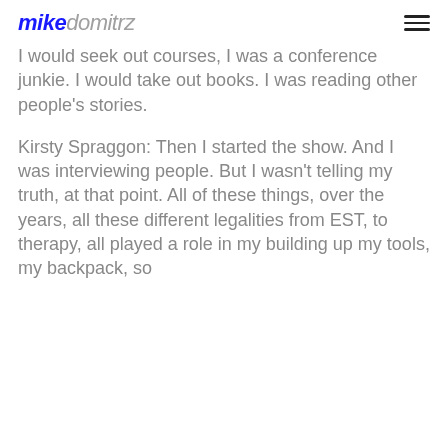mikedomitrz
I would seek out courses, I was a conference junkie. I would take out books. I was reading other people's stories.
Kirsty Spraggon: Then I started the show. And I was interviewing people. But I wasn't telling my truth, at that point. All of these things, over the years, all these different legalities from EST, to therapy, all played a role in my building up my tools, my backpack, so